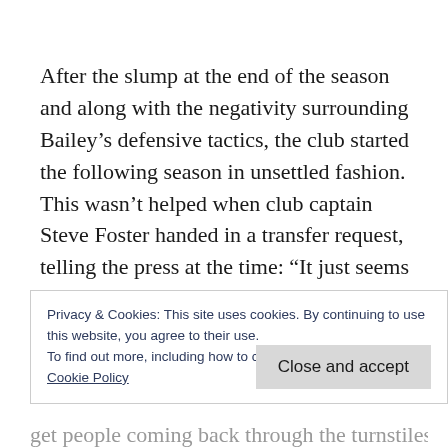After the slump at the end of the season and along with the negativity surrounding Bailey’s defensive tactics, the club started the following season in unsettled fashion. This wasn’t helped when club captain Steve Foster handed in a transfer request, telling the press at the time: “It just seems like the chairman doesn’t want to move forward.”
Privacy & Cookies: This site uses cookies. By continuing to use this website, you agree to their use.
To find out more, including how to control cookies, see here:
Cookie Policy
Close and accept
get people coming back through the turnstiles